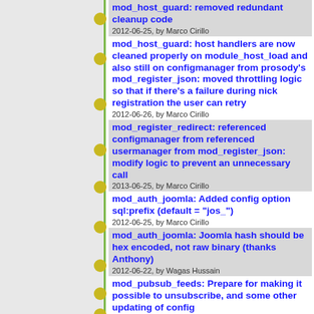mod_host_guard: removed redundant cleanup code
2012-06-25, by Marco Cirillo
mod_host_guard: host handlers are now cleaned properly on module_host_load and also still on configmanager from prosody's mod_register_json: moved throttling logic so that if there's a failure during nick registration the user can retry
2012-06-26, by Marco Cirillo
mod_register_redirect: referenced configmanager from referenced usermanager from mod_register_json: modify logic to prevent an unnecessary call
2012-06-25, by Marco Cirillo
mod_auth_joomla: Added config option sql:prefix (default = "jos_")
2012-06-25, by Marco Cirillo
mod_auth_joomla: Joomla hash should be hex encoded, not raw binary (thanks Anthony)
2012-06-22, by Wagas Hussain
mod_pubsub_feeds: Prepare for making it possible to unsubscribe, and some other updating of config
2012-06-22, by Wagas Hussain
mod_pubsub_feeds: Fix updating of config
2013-06-30, by Kim Alvefur
mod_vjud: Depends on vcard lib from verse, so add that.
2012-06-20, by Kim Alvefur
mod_vjud: Add. Thanks wagas